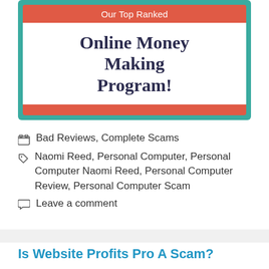[Figure (illustration): Promotional banner with teal background. Red bar at top reads 'Our Top Ranked'. White center area with bold dark text 'Online Money Making Program!'. Red bar at bottom.]
Bad Reviews, Complete Scams
Naomi Reed, Personal Computer, Personal Computer Naomi Reed, Personal Computer Review, Personal Computer Scam
Leave a comment
Is Website Profits Pro A Scam?